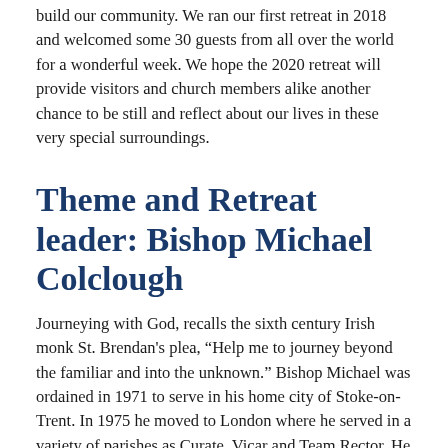build our community. We ran our first retreat in 2018 and welcomed some 30 guests from all over the world for a wonderful week. We hope the 2020 retreat will provide visitors and church members alike another chance to be still and reflect about our lives in these very special surroundings.
Theme and Retreat leader: Bishop Michael Colclough
Journeying with God, recalls the sixth century Irish monk St. Brendan's plea, “Help me to journey beyond the familiar and into the unknown.” Bishop Michael was ordained in 1971 to serve in his home city of Stoke-on-Trent. In 1975 he moved to London where he served in a variety of parishes as Curate, Vicar and Team Rector. He was appointed Archdeacon in 1992 and Bishop of Kensington in 1996; in 2008 he was invited to become Canon Pastor of St Paul’s